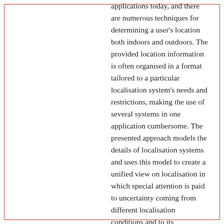applications today, and there are numerous techniques for determining a user's location both indoors and outdoors. The provided location information is often organised in a format tailored to a particular localisation system's needs and restrictions, making the use of several systems in one application cumbersome. The presented approach models the details of localisation systems and uses this model to create a unified view on localisation in which special attention is paid to uncertainty coming from different localisation conditions and to its presentation to the user. The work discusses technical considerations, challenges and issues of the approach, and reports on a user